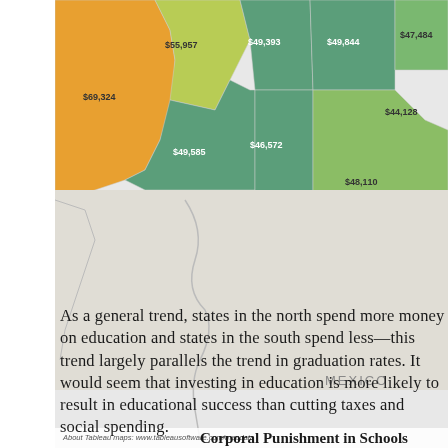[Figure (map): Partial choropleth map of US western states showing education spending per student values. States colored in orange, yellow-green, and teal-green shades. Values visible: $55,957, $49,393, $49,844, $47,484, $69,324, $49,585, $46,572, $44,128, $48,110. Mexico label visible in lower right. Attribution: About Tableau maps: www.tableausoftware.com/mapdata]
Map created by the Washington Post
As a general trend, states in the north spend more money on education and states in the south spend less—this trend largely parallels the trend in graduation rates. It would seem that investing in education is more likely to result in educational success than cutting taxes and social spending.
Corporal Punishment in Schools